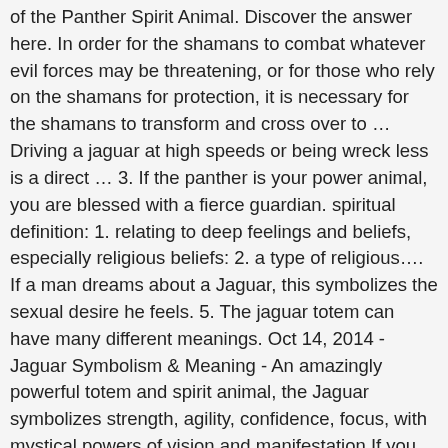of the Panther Spirit Animal. Discover the answer here. In order for the shamans to combat whatever evil forces may be threatening, or for those who rely on the shamans for protection, it is necessary for the shamans to transform and cross over to … Driving a jaguar at high speeds or being wreck less is a direct … 3. If the panther is your power animal, you are blessed with a fierce guardian. spiritual definition: 1. relating to deep feelings and beliefs, especially religious beliefs: 2. a type of religious…. If a man dreams about a Jaguar, this symbolizes the sexual desire he feels. 5. The jaguar totem can have many different meanings. Oct 14, 2014 - Jaguar Symbolism & Meaning - An amazingly powerful totem and spirit animal, the Jaguar symbolizes strength, agility, confidence, focus, with mystical powers of vision and manifestation If you are in the dark night of the soul, Jaguar reminds you not to resist the process of finding the spiritual riches within you. They are impressive living beings. They usually show signs of courage and bravery, and they are never afraid to assert their position in life. I discovered early on that the black jaguar spirit animal was my totem. He also explains how a spiritual seeker